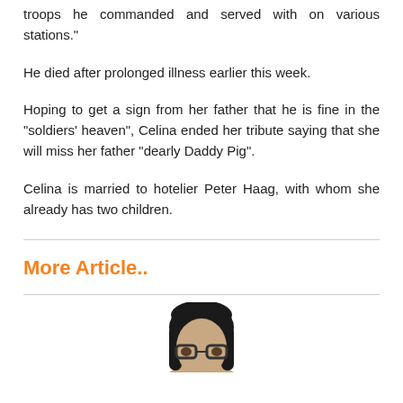troops he commanded and served with on various stations."
He died after prolonged illness earlier this week.
Hoping to get a sign from her father that he is fine in the "soldiers' heaven", Celina ended her tribute saying that she will miss her father "dearly Daddy Pig".
Celina is married to hotelier Peter Haag, with whom she already has two children.
More Article..
[Figure (photo): Photo of a person with dark hair and glasses, cropped at the bottom of the page]